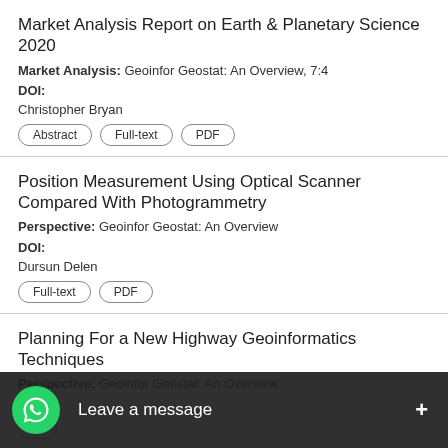Market Analysis Report on Earth & Planetary Science 2020
Market Analysis: Geoinfor Geostat: An Overview, 7:4
DOI:
Christopher Bryan
Abstract | Full-text | PDF
Position Measurement Using Optical Scanner Compared With Photogrammetry
Perspective: Geoinfor Geostat: An Overview
DOI:
Dursun Delen
Full-text | PDF
Planning For a New Highway Geoinformatics Techniques
Perspective: Geoinfor Geostat: An Overview
[Figure (screenshot): WhatsApp chat widget overlay with 'Leave a message' prompt and + button at bottom of screen]